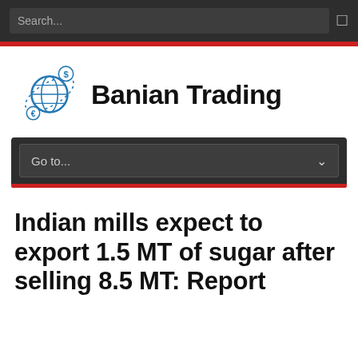Search...
[Figure (logo): Banian Trading logo: globe with currency symbols and orbit lines, next to bold text 'Banian Trading']
Go to...
Indian mills expect to export 1.5 MT of sugar after selling 8.5 MT: Report